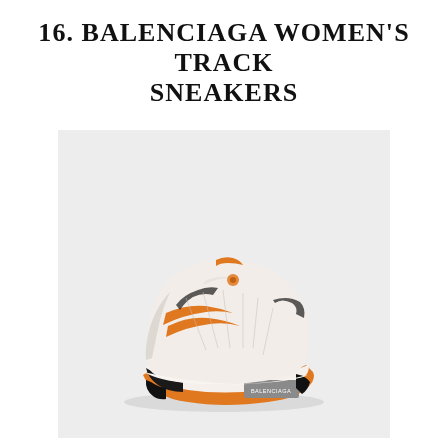16. BALENCIAGA WOMEN'S TRACK SNEAKERS
[Figure (photo): Balenciaga Women's Track Sneakers — a chunky dad-style sneaker in white/cream with orange sole and orange accents, black details, and 'BALENCIAGA' text on the heel. Shown on a light grey background.]